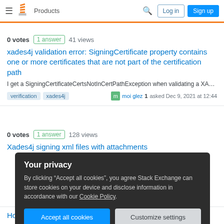≡ [Stack Overflow logo] Products 🔍 Log in Sign up
0 votes  1 answer  41 views
xades4j validation error: SigningCertificate property contains one or more certificates that are not part of the certification path
I get a SigningCertificateCertsNotInCertPathException when validating a XADES. The file is signed using a certificate what has a intermediate cert and a root cert: T...
verification  xades4j  m moi glez 1 asked Dec 9, 2021 at 12:44
0 votes  1 answer  128 views
Xades4j signing xml files with attachments
Your privacy
By clicking "Accept all cookies", you agree Stack Exchange can store cookies on your device and disclose information in accordance with our Cookie Policy.
Accept all cookies  Customize settings
How to do Digital Signature in Jaxb